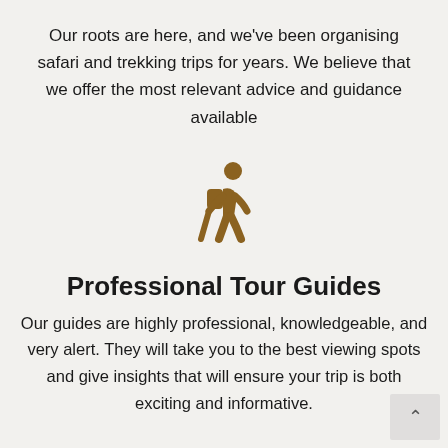Our roots are here, and we've been organising safari and trekking trips for years. We believe that we offer the most relevant advice and guidance available
[Figure (illustration): A brown icon of a person hiking with a backpack and walking stick]
Professional Tour Guides
Our guides are highly professional, knowledgeable, and very alert. They will take you to the best viewing spots and give insights that will ensure your trip is both exciting and informative.